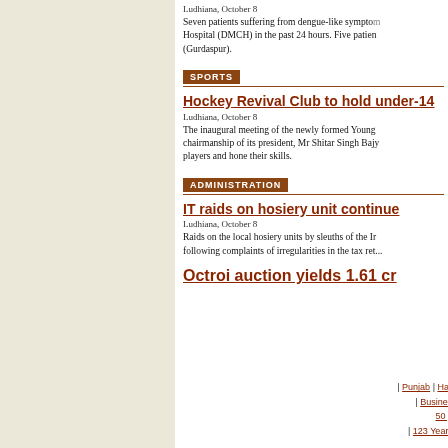Ludhiana, October 8
Seven patients suffering from dengue-like symptoms admitted to Dayanand Medical College and Hospital (DMCH) in the past 24 hours. Five patients referred from Civil Hospital (Gurdaspur).
SPORTS
Hockey Revival Club to hold under-14
Ludhiana, October 8
The inaugural meeting of the newly formed Young Hockey Revival Club was held under the chairmanship of its president, Mr Shitar Singh Bajwa. The club aims to provide training to young players and hone their skills.
ADMINISTRATION
IT raids on hosiery unit continue
Ludhiana, October 8
Raids on the local hosiery units by sleuths of the Income Tax Department continued following complaints of irregularities in the tax returns.
Octroi auction yields 1.61 cr
| Punjab | Haryana | Jammu & Kashmir | Hi...
| Business | Sport | World | Mailba...
50 years of Independen...
| 123 Years of Trust | Calendar | Weat...